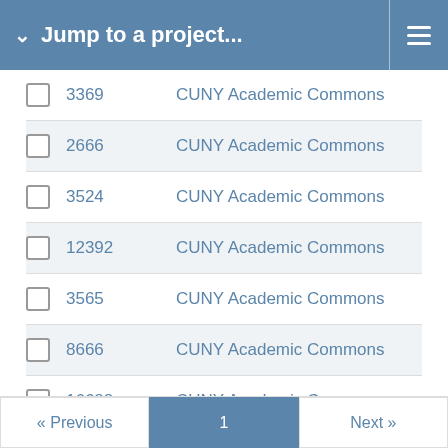Jump to a project...
3369  CUNY Academic Commons
2666  CUNY Academic Commons
3524  CUNY Academic Commons
12392  CUNY Academic Commons
3565  CUNY Academic Commons
8666  CUNY Academic Commons
16688  CUNY Academic Commons
« Previous  1  Next »